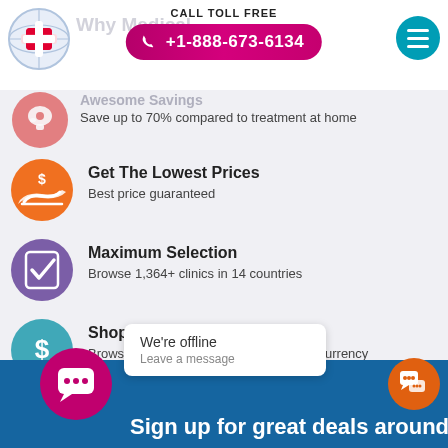[Figure (logo): Medical tourism website logo with red cross on globe]
Why Medical...
CALL TOLL FREE
+1-888-673-6134
[Figure (infographic): Red circle icon with piggy bank - Awesome Savings section]
Awesome Savings
Save up to 70% compared to treatment at home
[Figure (infographic): Orange circle icon with dollar hand - Get The Lowest Prices]
Get The Lowest Prices
Best price guaranteed
[Figure (infographic): Purple circle icon with checkbox - Maximum Selection]
Maximum Selection
Browse 1,364+ clinics in 14 countries
[Figure (infographic): Teal circle icon with dollar sign - Shop In Your Currency]
Shop In Your Currency
Browse for the cost of treatment in your currency
We're offline
Leave a message
Sign up for great deals around the